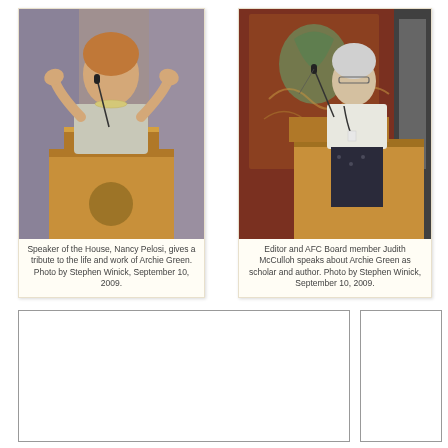[Figure (photo): Speaker of the House Nancy Pelosi speaking at a podium with arms raised, smiling, at a formal event.]
Speaker of the House, Nancy Pelosi, gives a tribute to the life and work of Archie Green. Photo by Stephen Winick, September 10, 2009.
[Figure (photo): Editor and AFC Board member Judith McCulloh speaking at a wooden podium with an ornate red tapestry in the background.]
Editor and AFC Board member Judith McCulloh speaks about Archie Green as scholar and author. Photo by Stephen Winick, September 10, 2009.
[Figure (photo): Partially visible photo at bottom left — content not fully shown.]
[Figure (photo): Partially visible photo at bottom right — content not fully shown.]